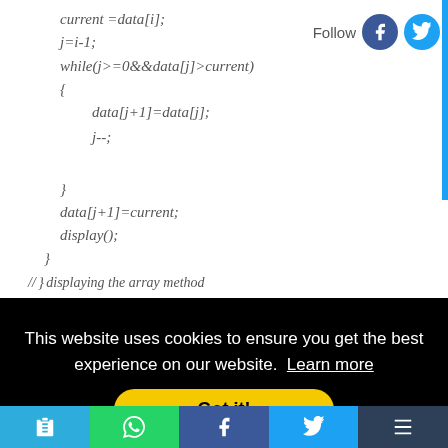current =data[i];
j=i-1;
while(j>=0&&data[j]>current)
{
    data[j+1]=data[j];
    j--;

}
data[j+1]=current;
display();
}
}
//   displaying the array method
Follow
This website uses cookies to ensure you get the best experience on our website. Learn more
Got it!